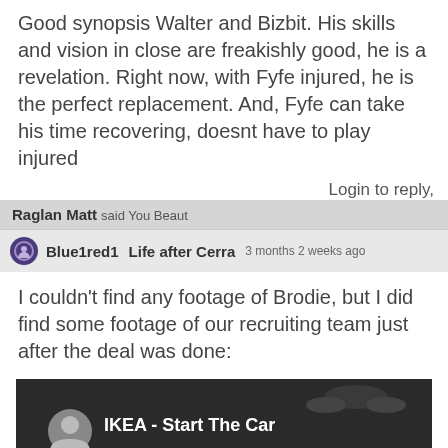Good synopsis Walter and Bizbit. His skills and vision in close are freakishly good, he is a revelation. Right now, with Fyfe injured, he is the perfect replacement. And, Fyfe can take his time recovering, doesnt have to play injured
Login to reply,
Raglan Matt said You Beaut
Blue1red1   Life after Cerra   3 months 2 weeks ago
I couldn't find any footage of Brodie, but I did find some footage of our recruiting team just after the deal was done:
[Figure (screenshot): Video thumbnail showing IKEA - Start The Car with a person's avatar on left and car silhouette at top]